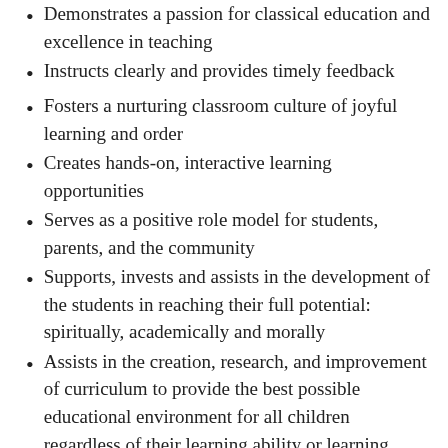Demonstrates a passion for classical education and excellence in teaching
Instructs clearly and provides timely feedback
Fosters a nurturing classroom culture of joyful learning and order
Creates hands-on, interactive learning opportunities
Serves as a positive role model for students, parents, and the community
Supports, invests and assists in the development of the students in reaching their full potential: spiritually, academically and morally
Assists in the creation, research, and improvement of curriculum to provide the best possible educational environment for all children regardless of their learning ability or learning